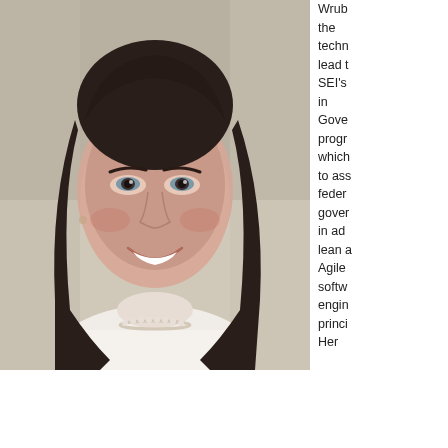[Figure (photo): Professional headshot of a woman with dark shoulder-length hair, smiling, wearing a white top and pearl necklace, with a blurred indoor background.]
Wrub the techn lead t SEI's in Gove progr which to ass feder gover in ad lean a Agile softw engin princi Her